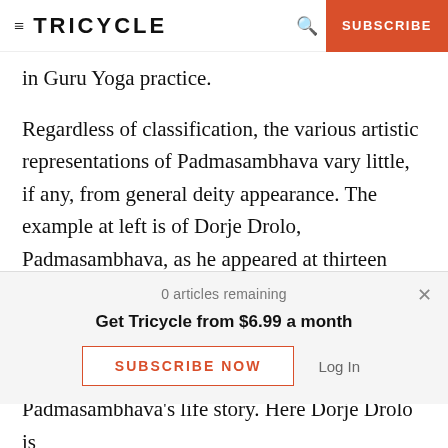≡ TRICYCLE   🔍   SUBSCRIBE
in Guru Yoga practice.
Regardless of classification, the various artistic representations of Padmasambhava vary little, if any, from general deity appearance. The example at left is of Dorje Drolo, Padmasambhava, as he appeared at thirteen different locations in Tibet and the surrounding Himalayan regions. Currently the most famous of these locations is located at Paro
0 articles remaining
Get Tricycle from $6.99 a month
SUBSCRIBE NOW
Log In
Padmasambhava's life story. Here Dorje Drolo is